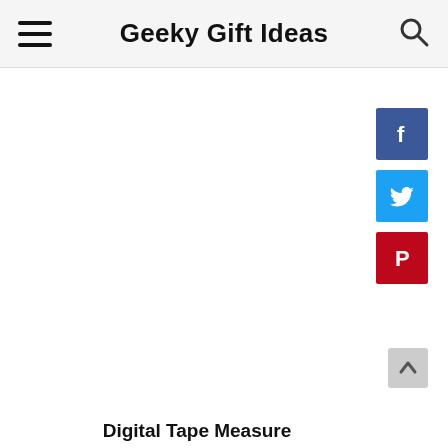Geeky Gift Ideas
[Figure (illustration): Facebook share button icon (blue square with white F logo)]
[Figure (illustration): Twitter share button icon (light blue square with white bird logo)]
[Figure (illustration): Pinterest share button icon (red square with white P logo)]
[Figure (illustration): Scroll to top button (grey square with upward arrow)]
Digital Tape Measure